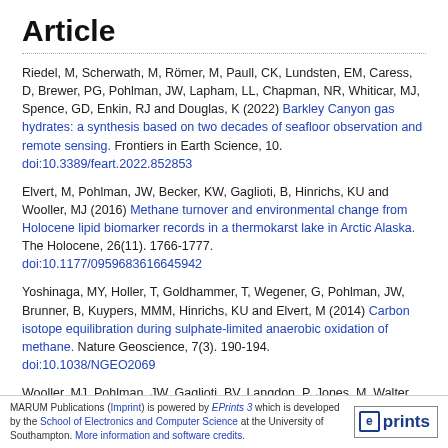Article
Riedel, M, Scherwath, M, Römer, M, Paull, CK, Lundsten, EM, Caress, D, Brewer, PG, Pohlman, JW, Lapham, LL, Chapman, NR, Whiticar, MJ, Spence, GD, Enkin, RJ and Douglas, K (2022) Barkley Canyon gas hydrates: a synthesis based on two decades of seafloor observation and remote sensing. Frontiers in Earth Science, 10. doi:10.3389/feart.2022.852853
Elvert, M, Pohlman, JW, Becker, KW, Gaglioti, B, Hinrichs, KU and Wooller, MJ (2016) Methane turnover and environmental change from Holocene lipid biomarker records in a thermokarst lake in Arctic Alaska. The Holocene, 26(11). 1766-1777. doi:10.1177/0959683616645942
Yoshinaga, MY, Holler, T, Goldhammer, T, Wegener, G, Pohlman, JW, Brunner, B, Kuypers, MMM, Hinrichs, KU and Elvert, M (2014) Carbon isotope equilibration during sulphate-limited anaerobic oxidation of methane. Nature Geoscience, 7(3). 190-194. doi:10.1038/NGEO2069
Wooller, MJ, Pohlman, JW, Gaglioti, BV, Langdon, P, Jones, M, Walter Anthony, KM, Becker, KW, Hinrichs, KU and Elvert, M (2012) Reconstruction of past methane availability in an Arctic Alaska
MARUM Publications (Imprint) is powered by EPrints 3 which is developed by the School of Electronics and Computer Science at the University of Southampton. More information and software credits.